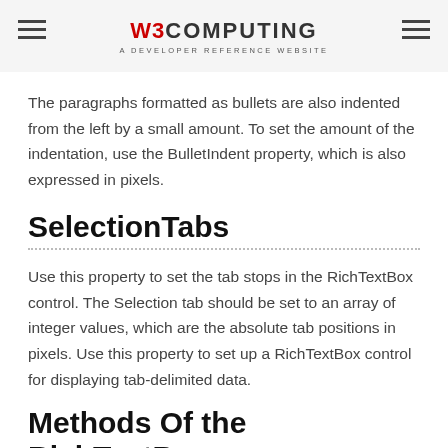W3COMPUTING — A DEVELOPER REFERENCE WEBSITE
The paragraphs formatted as bullets are also indented from the left by a small amount. To set the amount of the indentation, use the BulletIndent property, which is also expressed in pixels.
SelectionTabs
Use this property to set the tab stops in the RichTextBox control. The Selection tab should be set to an array of integer values, which are the absolute tab positions in pixels. Use this property to set up a RichTextBox control for displaying tab-delimited data.
Methods Of the RichTextBox control